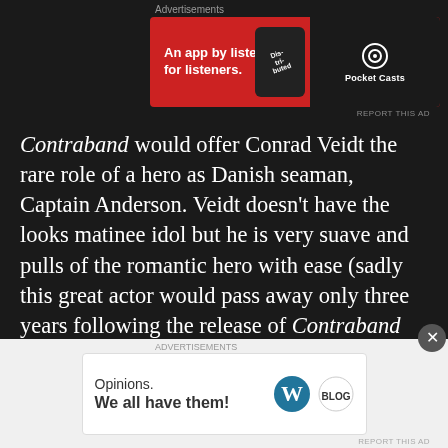[Figure (other): Pocket Casts advertisement banner: red background on left with text 'An app by listeners, for listeners.' and dark right side with Pocket Casts logo]
Contraband would offer Conrad Veidt the rare role of a hero as Danish seaman, Captain Anderson. Veidt doesn't have the looks matinee idol but he is very suave and pulls of the romantic hero with ease (sadly this great actor would pass away only three years following the release of Contraband from a heart attack aged 50). The bane to Captain Anderson, Mrs Sorensen (Valerie Hobson) is introduced defying the captain's orders and
[Figure (other): WordPress advertisement banner: white background with text 'Opinions. We all have them!' and WordPress and another logo on the right]